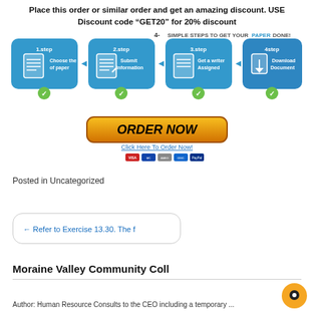Place this order or similar order and get an amazing discount. USE Discount code “GET20” for 20% discount
[Figure (infographic): 4 simple steps infographic: Step 1 Choose the type of paper, Step 2 Submit Information, Step 3 Get a writer Assigned, Step 4 Download Document. Each step shown in blue rounded boxes with icons and green checkmarks.]
[Figure (infographic): ORDER NOW orange button with Click Here To Order Now link and payment method icons below.]
Posted in Uncategorized
← Refer to Exercise 13.30. The f
Moraine Valley Community Coll
Author: Human Resource Consults to the CEO including a temporary ...